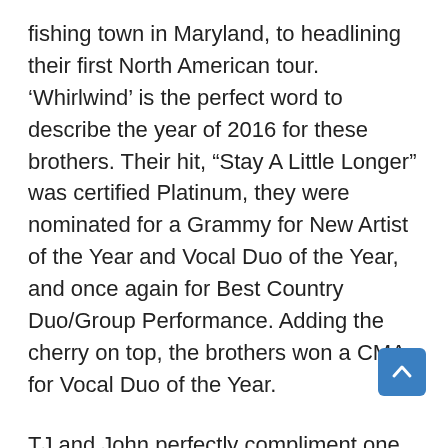fishing town in Maryland, to headlining their first North American tour. ‘Whirlwind’ is the perfect word to describe the year of 2016 for these brothers. Their hit, “Stay A Little Longer” was certified Platinum, they were nominated for a Grammy for New Artist of the Year and Vocal Duo of the Year, and once again for Best Country Duo/Group Performance. Adding the cherry on top, the brothers won a CMA for Vocal Duo of the Year.
TJ and John perfectly compliment one another as musicians. TJ’s rich baritone voice has an incredible range and John’s guitar skills can be compared to those of the legendary Chet Atkins and Santana